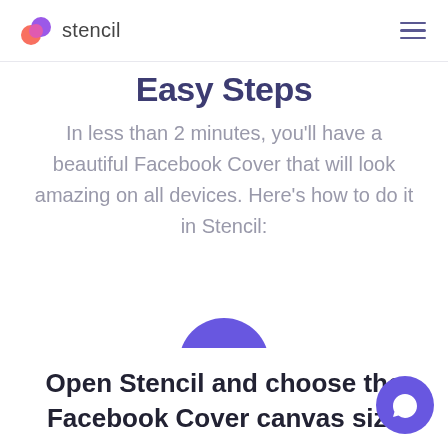stencil
Easy Steps
In less than 2 minutes, you'll have a beautiful Facebook Cover that will look amazing on all devices. Here's how to do it in Stencil:
[Figure (illustration): Purple circle badge with white number 1]
Open Stencil and choose the Facebook Cover canvas size